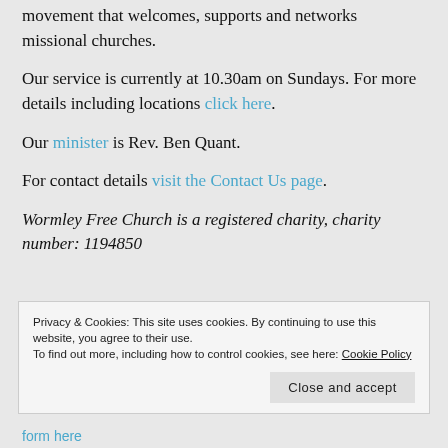We are part of the Counties of Huntingdon Connection, movement that welcomes, supports and networks missional churches.
Our service is currently at 10.30am on Sundays. For more details including locations click here.
Our minister is Rev. Ben Quant.
For contact details visit the Contact Us page.
Wormley Free Church is a registered charity, charity number: 1194850
Privacy & Cookies: This site uses cookies. By continuing to use this website, you agree to their use. To find out more, including how to control cookies, see here: Cookie Policy
form here